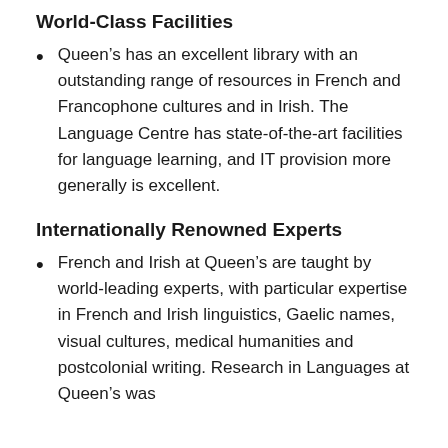World-Class Facilities
Queen’s has an excellent library with an outstanding range of resources in French and Francophone cultures and in Irish. The Language Centre has state-of-the-art facilities for language learning, and IT provision more generally is excellent.
Internationally Renowned Experts
French and Irish at Queen’s are taught by world-leading experts, with particular expertise in French and Irish linguistics, Gaelic names, visual cultures, medical humanities and postcolonial writing. Research in Languages at Queen’s was